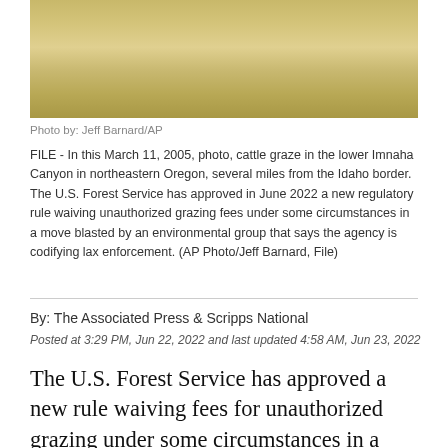[Figure (photo): Cattle grazing in a dry grass field in the lower Imnaha Canyon, northeastern Oregon]
Photo by: Jeff Barnard/AP
FILE - In this March 11, 2005, photo, cattle graze in the lower Imnaha Canyon in northeastern Oregon, several miles from the Idaho border. The U.S. Forest Service has approved in June 2022 a new regulatory rule waiving unauthorized grazing fees under some circumstances in a move blasted by an environmental group that says the agency is codifying lax enforcement. (AP Photo/Jeff Barnard, File)
By: The Associated Press & Scripps National
Posted at 3:29 PM, Jun 22, 2022 and last updated 4:58 AM, Jun 23, 2022
The U.S. Forest Service has approved a new rule waiving fees for unauthorized grazing under some circumstances in a move blasted by an environmental group that says the agency is codifying lax enforcement.